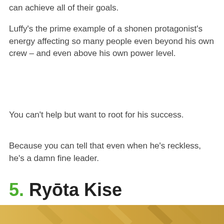can achieve all of their goals.
Luffy's the prime example of a shonen protagonist's energy affecting so many people even beyond his own crew – and even above his own power level.
You can't help but want to root for his success.
Because you can tell that even when he's reckless, he's a damn fine leader.
5. Ryōta Kise
[Figure (photo): Bottom strip showing a partial anime illustration with golden/yellow tones]